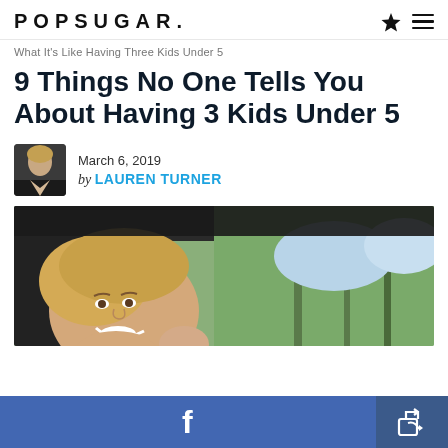POPSUGAR.
What It's Like Having Three Kids Under 5
9 Things No One Tells You About Having 3 Kids Under 5
[Figure (photo): Author avatar photo of Lauren Turner, a woman in a dark jacket]
March 6, 2019
by LAUREN TURNER
[Figure (photo): A smiling blonde woman taking a selfie inside a vehicle, with trees visible through the window in the background]
[Figure (other): Social sharing bar with Facebook and share buttons]